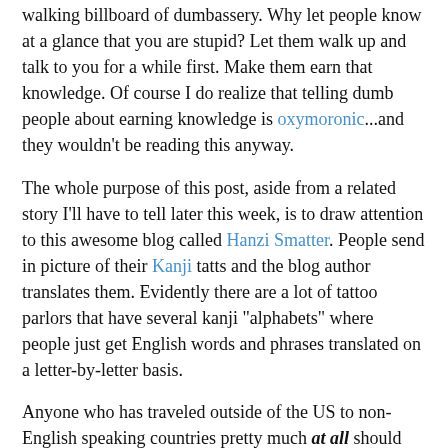walking billboard of dumbassery. Why let people know at a glance that you are stupid? Let them walk up and talk to you for a while first. Make them earn that knowledge. Of course I do realize that telling dumb people about earning knowledge is oxymoronic...and they wouldn't be reading this anyway.
The whole purpose of this post, aside from a related story I'll have to tell later this week, is to draw attention to this awesome blog called Hanzi Smatter. People send in picture of their Kanji tatts and the blog author translates them. Evidently there are a lot of tattoo parlors that have several kanji "alphabets" where people just get English words and phrases translated on a letter-by-letter basis.
Anyone who has traveled outside of the US to non-English speaking countries pretty much at all should understand why this just doesn't work. First of all, language differences aren't just a difference in alphabet and pronunciation. Proper nouns, idioms, well everything comes from a different train of thought.
I'm not going to get into semantics, but with Kanji whole words or even sentences/concepts in English can be